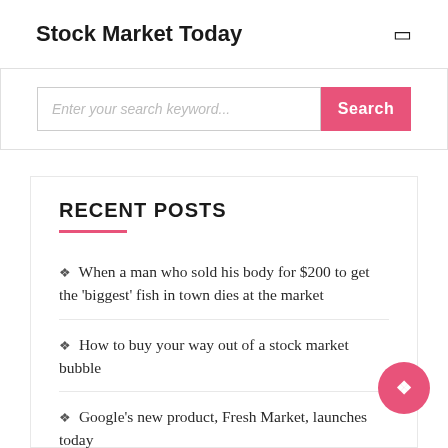Stock Market Today
Enter your search keyword... Search
RECENT POSTS
❑ When a man who sold his body for $200 to get the 'biggest' fish in town dies at the market
❑ How to buy your way out of a stock market bubble
❑ Google's new product, Fresh Market, launches today
❑ How to Use Social Media Marketing to Get More Money